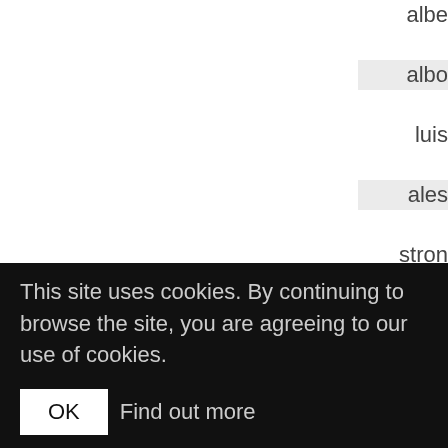albe
albo
luis
ales
stron
alfre
aline
fabri
alpe
ange
andr
This site uses cookies. By continuing to browse the site, you are agreeing to our use of cookies.
OK  Find out more